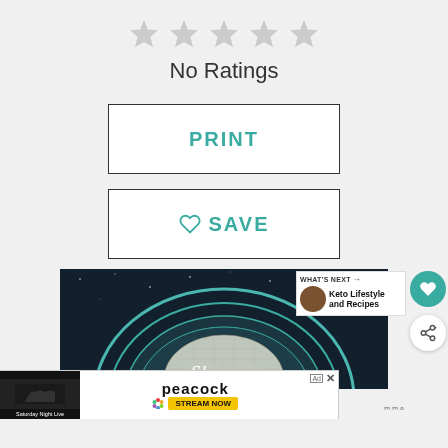[Figure (other): Five empty/unfilled star rating icons displayed in a row]
No Ratings
[Figure (other): PRINT button — white rectangle with teal bold text PRINT]
[Figure (other): SAVE button — white rectangle with teal heart icon and bold text SAVE]
[Figure (other): Dark space-themed image with teal dome/helmet and script text 'She can']
[Figure (other): Peacock streaming service advertisement with Saturday Night Live thumbnail and STREAM NOW button]
WHAT'S NEXT → Keto Lifestyle and Recipes